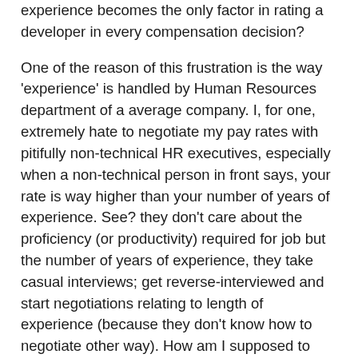experience becomes the only factor in rating a developer in every compensation decision?
One of the reason of this frustration is the way 'experience' is handled by Human Resources department of a average company. I, for one, extremely hate to negotiate my pay rates with pitifully non-technical HR executives, especially when a non-technical person in front says, your rate is way higher than your number of years of experience. See? they don't care about the proficiency (or productivity) required for job but the number of years of experience, they take casual interviews; get reverse-interviewed and start negotiations relating to length of experience (because they don't know how to negotiate other way). How am I supposed to make that person understand what I can do and what level of productivity I can offer? there's no measurement in competency but a person more experienced would easily win, all because length of experience has become and is increasingly becoming de-facto bargain.
Why many people don't understand that the field of Software development is way too different than most of the fields out